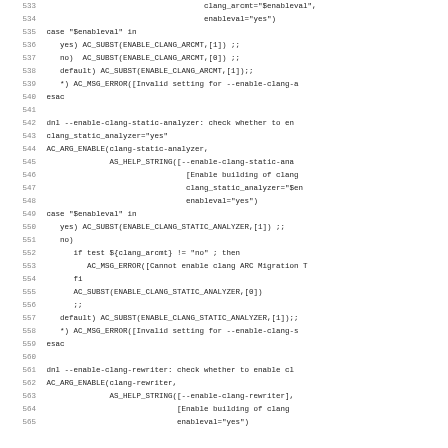Source code listing lines 533-565, shell/autoconf script for enabling clang tools (arcmt, static-analyzer, rewriter)